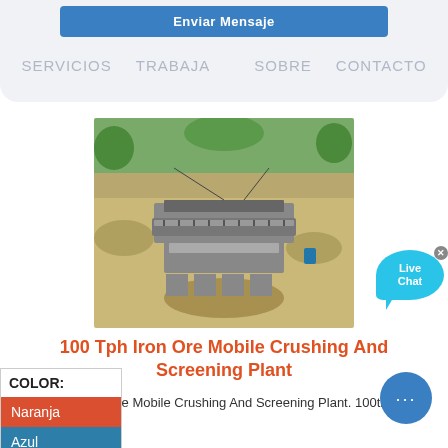Enviar Mensaje
SERVICIOS  TRABAJA  SOBRE  CONTACTO
[Figure (photo): Outdoor photo of a mobile iron ore crushing and screening plant at a mining site, showing conveyor belts and crushers on sandy terrain with trees in background]
100 Tph Iron Ore Mobile Crushing And Screening Plant
COLOR:
Naranja
Azul
Amarillo
Live Chat
100 Tph Iron Ore Mobile Crushing And Screening Plant. 100th mobile iron ore